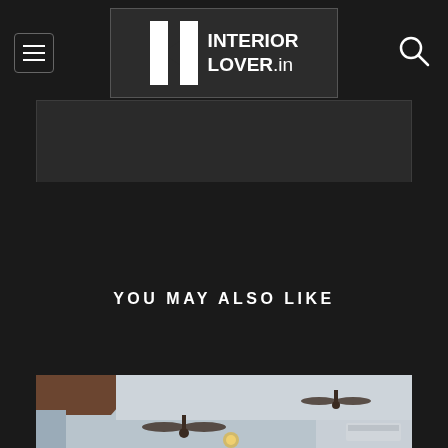Interior Lover .in
[Figure (other): Dark banner/advertisement area below header]
YOU MAY ALSO LIKE
[Figure (photo): Interior room photo showing ceiling with ceiling fans, light fixture, curtains, and wall-mounted air conditioner]